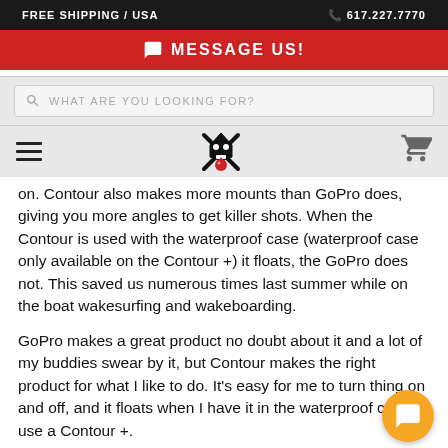FREE SHIPPING / USA   617.227.7770
MESSAGE US!
WHAT ARE YOU LOOKING FOR?
[Figure (logo): Website logo with crossbones/skull icon in black and red]
on. Contour also makes more mounts than GoPro does, giving you more angles to get killer shots. When the Contour is used with the waterproof case (waterproof case only available on the Contour +) it floats, the GoPro does not. This saved us numerous times last summer while on the boat wakesurfing and wakeboarding.

GoPro makes a great product no doubt about it and a lot of my buddies swear by it, but Contour makes the right product for what I like to do. It's easy for me to turn thing on and off, and it floats when I have it in the waterproof case. I use a Contour +.